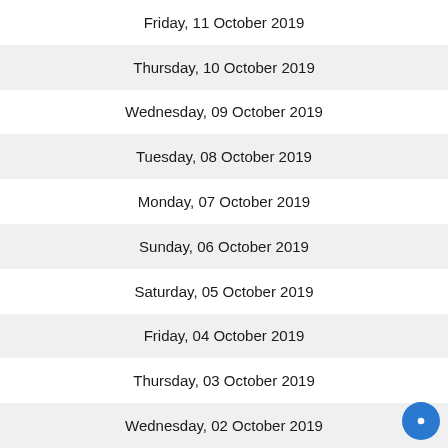Friday, 11 October 2019
Thursday, 10 October 2019
Wednesday, 09 October 2019
Tuesday, 08 October 2019
Monday, 07 October 2019
Sunday, 06 October 2019
Saturday, 05 October 2019
Friday, 04 October 2019
Thursday, 03 October 2019
Wednesday, 02 October 2019